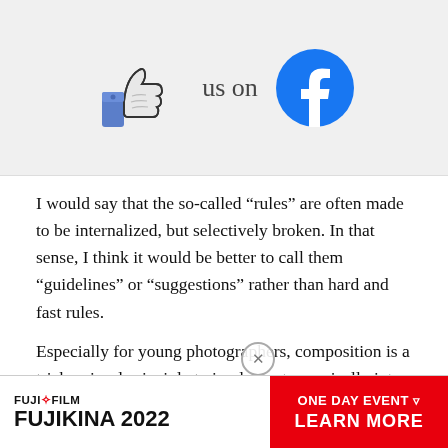[Figure (illustration): Facebook like/thumbs-up icon followed by text 'us on' and the Facebook logo (blue circle with white f)]
I would say that the so-called “rules” are often made to be internalized, but selectively broken. In that sense, I think it would be better to call them “guidelines” or “suggestions” rather than hard and fast rules.
Especially for young photographers, composition is a tricky visual principle to implement organically into a workflow... valuab... from
[Figure (illustration): Advertisement banner for Fujifilm Fujikina 2022 One Day Event with Learn More call to action in red]